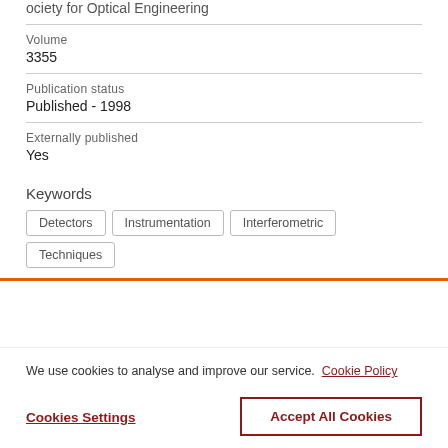ociety for Optical Engineering
Volume
3355
Publication status
Published - 1998
Externally published
Yes
Keywords
Detectors | Instrumentation | Interferometric | Techniques
We use cookies to analyse and improve our service. Cookie Policy
Cookies Settings
Accept All Cookies